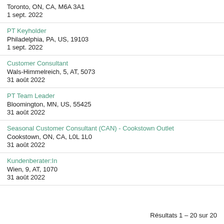Toronto, ON, CA, M6A 3A1
1 sept. 2022
PT Keyholder
Philadelphia, PA, US, 19103
1 sept. 2022
Customer Consultant
Wals-Himmelreich, 5, AT, 5073
31 août 2022
PT Team Leader
Bloomington, MN, US, 55425
31 août 2022
Seasonal Customer Consultant (CAN) - Cookstown Outlet
Cookstown, ON, CA, L0L 1L0
31 août 2022
Kundenberater:In
Wien, 9, AT, 1070
31 août 2022
Résultats 1 – 20 sur 20